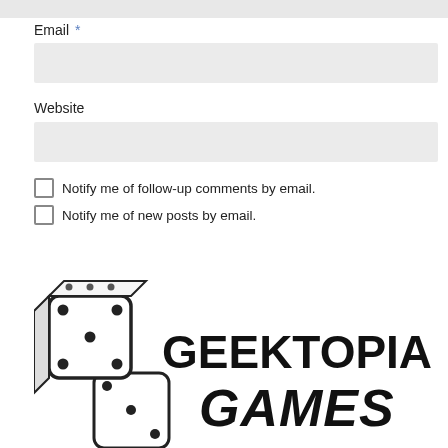Email *
Website
Notify me of follow-up comments by email.
Notify me of new posts by email.
Post Comment
[Figure (logo): Geektopia Games logo with two dice and bold text reading GEEKTOPIA GAMES]